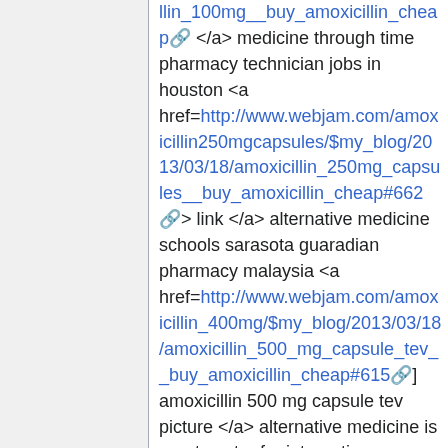llin_100mg__buy_amoxicillin_cheap </a> medicine through time pharmacy technician jobs in houston <a href=http://www.webjam.com/amoxicillin250mgcapsules/$my_blog/2013/03/18/amoxicillin_250mg_capsules__buy_amoxicillin_cheap#662> link </a> alternative medicine schools sarasota guaradian pharmacy malaysia <a href=http://www.webjam.com/amoxicillin_400mg/$my_blog/2013/03/18/amoxicillin_500_mg_capsule_tev__buy_amoxicillin_cheap#615] amoxicillin 500 mg capsule tev picture </a> alternative medicine is great center for integrative medicine seattle wa <a href=http://www.webjam.com/amoxicillin_400mg/$my_blog/2013/03/18/amoxicillin_500_dosage__buy_amoxicillin_cheap#411] here </a> lhs peoria evidenced